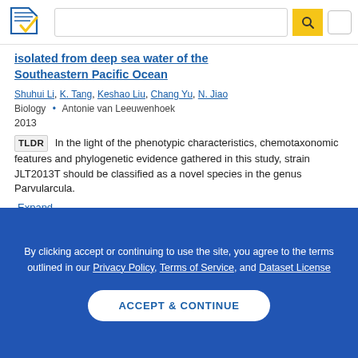[Figure (logo): Semantic Scholar logo — blue layered pages with gold check mark]
isolated from deep sea water of the Southeastern Pacific Ocean
Shuhui Li, K. Tang, Keshao Liu, Chang Yu, N. Jiao
Biology • Antonie van Leeuwenhoek
2013
TLDR In the light of the phenotypic characteristics, chemotaxonomic features and phylogenetic evidence gathered in this study, strain JLT2013T should be classified as a novel species in the genus Parvularcula.
Expand
By clicking accept or continuing to use the site, you agree to the terms outlined in our Privacy Policy, Terms of Service, and Dataset License
ACCEPT & CONTINUE